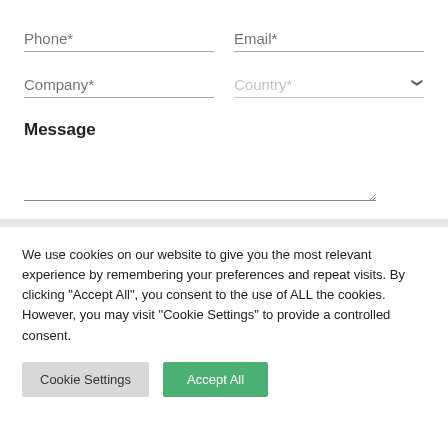Phone*
Email*
Company*
Country*
Message
We use cookies on our website to give you the most relevant experience by remembering your preferences and repeat visits. By clicking "Accept All", you consent to the use of ALL the cookies. However, you may visit "Cookie Settings" to provide a controlled consent.
Cookie Settings
Accept All